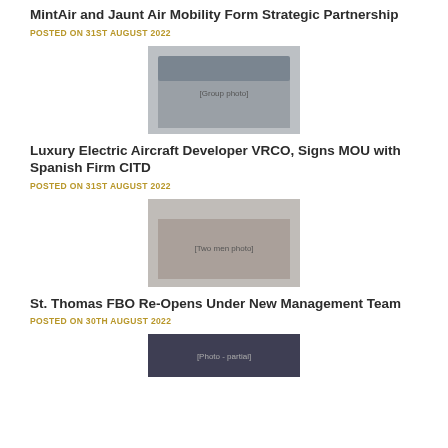MintAir and Jaunt Air Mobility Form Strategic Partnership
POSTED ON 31ST AUGUST 2022
[Figure (photo): Group of professionals standing together indoors]
Luxury Electric Aircraft Developer VRCO, Signs MOU with Spanish Firm CITD
POSTED ON 31ST AUGUST 2022
[Figure (photo): Two men posing together indoors]
St. Thomas FBO Re-Opens Under New Management Team
POSTED ON 30TH AUGUST 2022
[Figure (photo): Partial photo, bottom of page cut off]